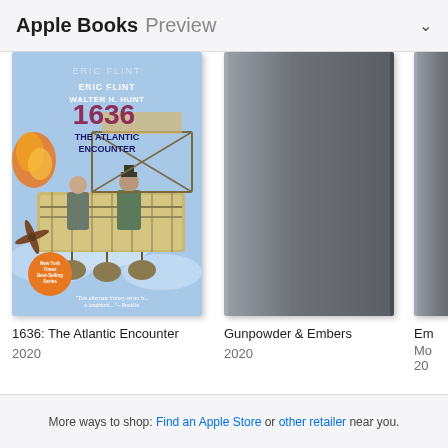Apple Books Preview
[Figure (photo): Book cover of '1636: The Atlantic Encounter' by Eric Flint and Walter H. Hunt, showing steampunk airship scene]
1636: The Atlantic Encounter
2020
[Figure (photo): Gray placeholder book cover for Gunpowder & Embers]
Gunpowder & Embers
2020
[Figure (photo): Partially visible gray placeholder book cover (third book, title partially cut off starting with 'Em')]
Em...
Mo...
20...
More ways to shop: Find an Apple Store or other retailer near you.